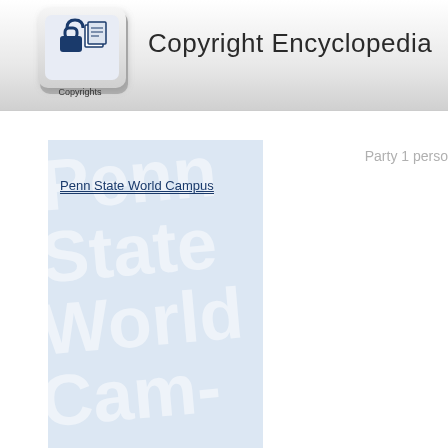[Figure (logo): Copyright Encyclopedia logo: a keyboard key with a lock and document icon, labeled 'Copyrights']
Copyright Encyclopedia
Party 1 perso
[Figure (illustration): Light blue vertical panel with watermark text 'Penn State World Campus' rotated/overlapping in large light letters]
Penn State World Campus